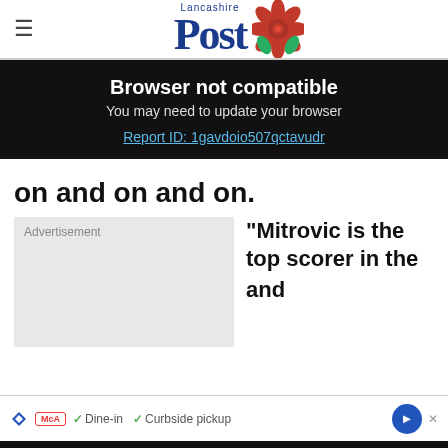Lancashire Post
Browser not compatible
You may need to update your browser
Report ID: 1gavdoio507qctavudr
on and on and on.
[Figure (other): Advertisement placeholder box]
"Mitrovic is the top scorer in the
and
50% off annual subscriptions  Subscribe today